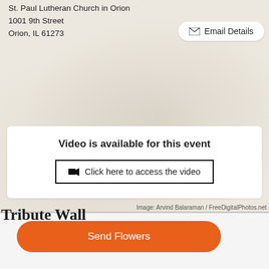St. Paul Lutheran Church in Orion
1001 9th Street
Orion, IL 61273
✉ Email Details
Video is available for this event
🎥 Click here to access the video
Image: Arvind Balaraman / FreeDigitalPhotos.net
Tribute Wall
Send Flowers